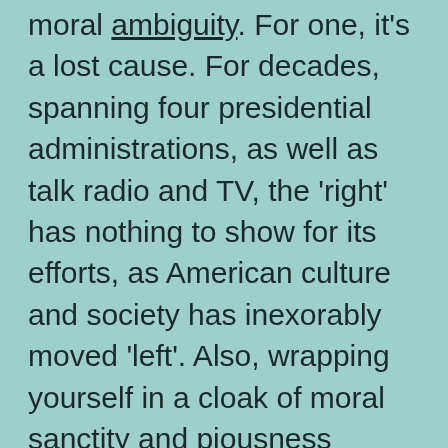moral ambiguity. For one, it's a lost cause. For decades, spanning four presidential administrations, as well as talk radio and TV, the 'right' has nothing to show for its efforts, as American culture and society has inexorably moved 'left'. Also, wrapping yourself in a cloak of moral sanctity and piousness leaves one exposed to charges of hypocrisy should one's own indiscretions come to light. Rather than pressing judgement, it's easier, but also more robust, to just not care. Moralizing, which includes SJW-activism, is sometimes an unwanted imposition that goes against one's capacity for self-determination and self-